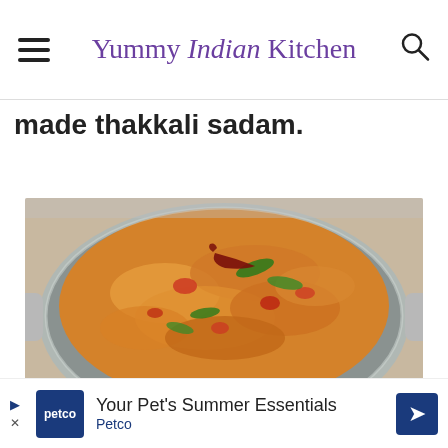Yummy Indian Kitchen
made thakkali sadam.
[Figure (photo): A close-up photo of thakkali sadam (tomato rice) served in a stainless steel kadai/pan with dried red chili and curry leaves on top]
Your Pet's Summer Essentials Petco